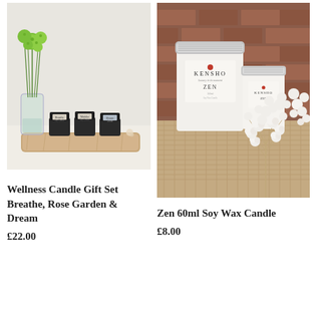[Figure (photo): Three small dark candle jars on a wooden board next to a glass vase with green flowers, on a light background]
Wellness Candle Gift Set Breathe, Rose Garden & Dream
£22.00
[Figure (photo): Kensho Zen 60ml soy wax candle in a glass jar with silver lid, next to white dried flowers on a burlap surface with brick background]
Zen 60ml Soy Wax Candle
£8.00